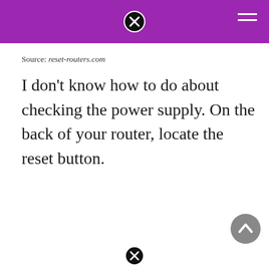Source: reset-routers.com
I don't know how to do about checking the power supply. On the back of your router, locate the reset button.